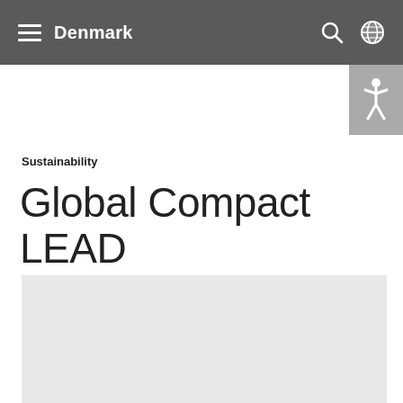Denmark
Sustainability
Global Compact LEAD
[Figure (photo): Gray placeholder image area at the bottom of the page]